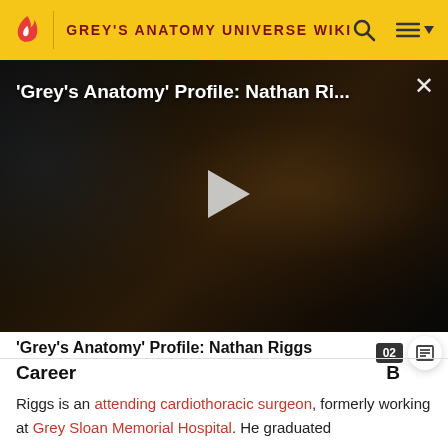GREY'S ANATOMY UNIVERSE WIKI
[Figure (screenshot): Video thumbnail showing a darkly lit scene with a man holding a phone, overlaid with the video title "'Grey's Anatomy' Profile: Nathan Ri..." and a play button. There is an X close button in the upper right corner.]
'Grey's Anatomy' Profile: Nathan Riggs
Career
Riggs is an attending cardiothoracic surgeon, formerly working at Grey Sloan Memorial Hospital. He graduated